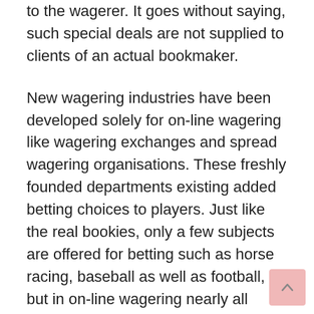to the wagerer. It goes without saying, such special deals are not supplied to clients of an actual bookmaker.
New wagering industries have been developed solely for on-line wagering like wagering exchanges and spread wagering organisations. These freshly founded departments existing added betting choices to players. Just like the real bookies, only a few subjects are offered for betting such as horse racing, baseball as well as football, but in on-line wagering nearly all points can be set up for wagering like overseas sporting activities tasks, political election outcomes and a whole lot a lot more. For that reason there is an raised market for option of things and stuffs to place a bank on. Information,